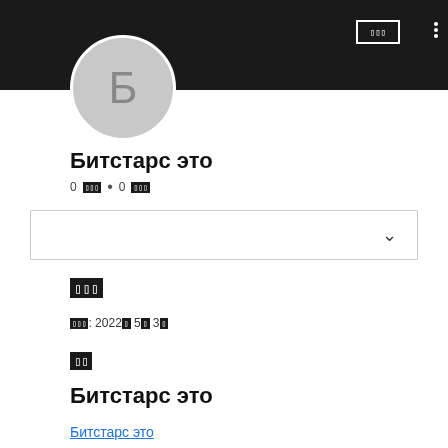[Figure (screenshot): App header banner dark background with user avatar circle showing Б, a button with tofu characters, and three-dot menu]
Битстарс это
0 ??? • 0 ???
[Figure (other): Dropdown/selector bar with chevron down icon]
???
???: 2022? 5? 3?
??
Битстарс это
Битстарс это